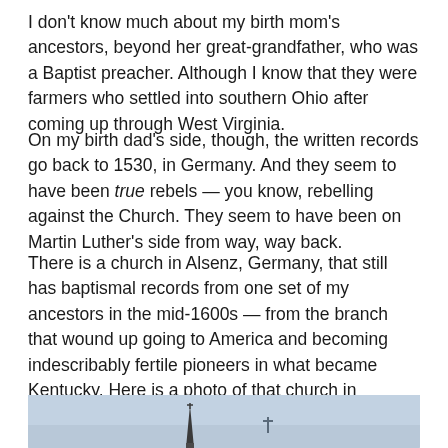I don't know much about my birth mom's ancestors, beyond her great-grandfather, who was a Baptist preacher. Although I know that they were farmers who settled into southern Ohio after coming up through West Virginia.
On my birth dad's side, though, the written records go back to 1530, in Germany. And they seem to have been true rebels — you know, rebelling against the Church. They seem to have been on Martin Luther's side from way, way back.
There is a church in Alsenz, Germany, that still has baptismal records from one set of my ancestors in the mid-1600s — from the branch that wound up going to America and becoming indescribably fertile pioneers in what became Kentucky. Here is a photo of that church in Germany as it looks today. It is still a practicing church:
[Figure (photo): Photo of a church steeple in Alsenz, Germany against a grey-blue sky, with a cross visible on a second spire in the background.]